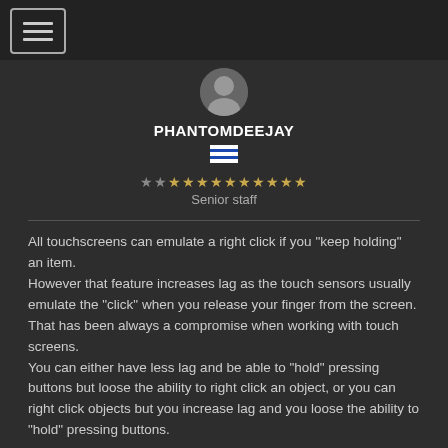[Figure (other): Hamburger menu icon button in top-left corner, white lines on dark background with border]
[Figure (photo): Circular avatar/profile photo of user PHANTOMDEEJAY]
PHANTOMDEEJAY
[Figure (other): Greek flag emoji]
★★★★★★★★★★★★ Senior staff
All touchscreens can emulate a right click if you "keep holding" an item.
However that feature increases lag as the touch sensors usually emulate the "click" when you release your finger from the screen.
That has been always a compromise when working with touch screens.
You can either have less lag and be able to "hold" pressing buttons but loose the ability to right click an object, or you can right click objects but you increase lag and you loose the ability to "hold" pressing buttons.